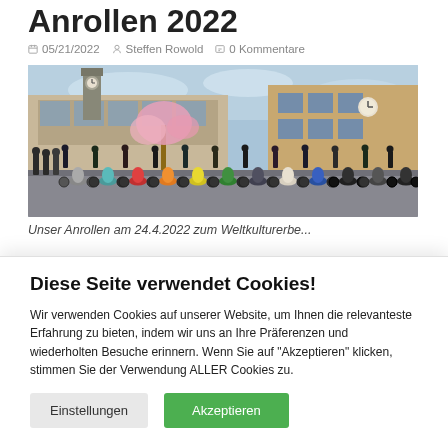Anrollen 2022
05/21/2022   Steffen Rowold   0 Kommentare
[Figure (photo): Group photo of many people with scooters/Vespas lined up in front of a large industrial or heritage building with a clock tower, taken on 24.4.2022]
Unser Anrollen am 24.4.2022 zum Weltkulturerbe...
Diese Seite verwendet Cookies!
Wir verwenden Cookies auf unserer Website, um Ihnen die relevanteste Erfahrung zu bieten, indem wir uns an Ihre Präferenzen und wiederholten Besuche erinnern. Wenn Sie auf "Akzeptieren" klicken, stimmen Sie der Verwendung ALLER Cookies zu.
Einstellungen  Akzeptieren